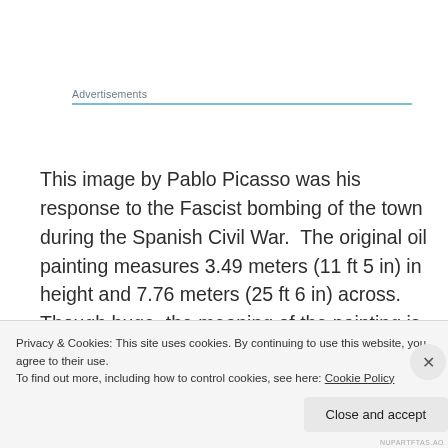Advertisements
This image by Pablo Picasso was his response to the Fascist bombing of the town during the Spanish Civil War.  The original oil painting measures 3.49 meters (11 ft 5 in) in height and 7.76 meters (25 ft 6 in) across.  Though huge, the meaning of the painting is perhaps even bigger.  It was painted to raise money for war relief and to bring the world’s attention to the atrocities being
Privacy & Cookies: This site uses cookies. By continuing to use this website, you agree to their use.
To find out more, including how to control cookies, see here: Cookie Policy
Close and accept